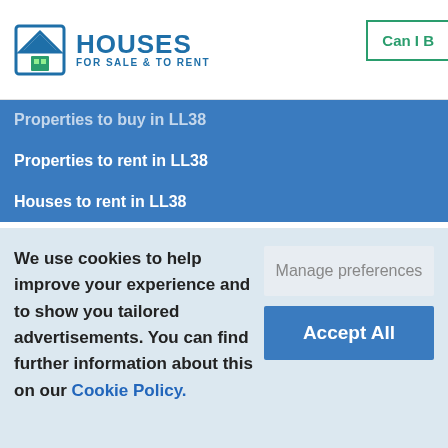HOUSES FOR SALE & TO RENT | Can I B...
Properties to buy in LL38
Properties to rent in LL38
Houses to rent in LL38
We use cookies to help improve your experience and to show you tailored advertisements. You can find further information about this on our Cookie Policy.